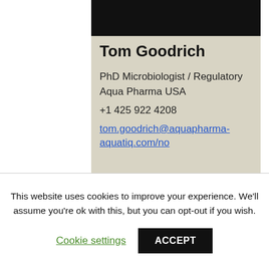[Figure (photo): Black bar at top of profile card representing a cropped/redacted photo area]
Tom Goodrich
PhD Microbiologist / Regulatory
Aqua Pharma USA
+1 425 922 4208
tom.goodrich@aquapharma-aquatiq.com/no
This website uses cookies to improve your experience. We'll assume you're ok with this, but you can opt-out if you wish.
Cookie settings   ACCEPT